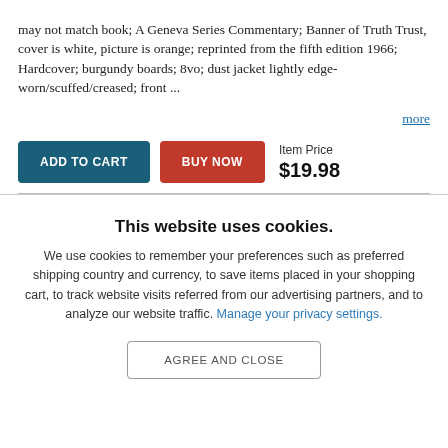may not match book; A Geneva Series Commentary; Banner of Truth Trust, cover is white, picture is orange; reprinted from the fifth edition 1966; Hardcover; burgundy boards; 8vo; dust jacket lightly edge-worn/scuffed/creased; front ...
more
ADD TO CART   BUY NOW   Item Price $19.98
This website uses cookies.
We use cookies to remember your preferences such as preferred shipping country and currency, to save items placed in your shopping cart, to track website visits referred from our advertising partners, and to analyze our website traffic. Manage your privacy settings.
AGREE AND CLOSE